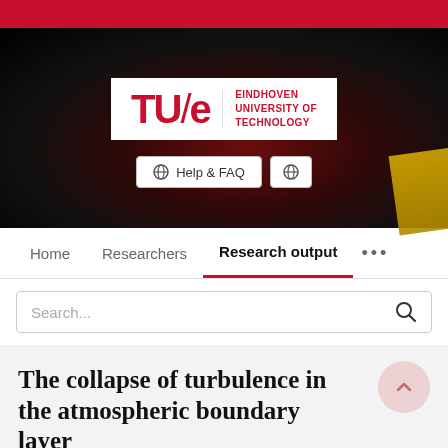[Figure (logo): TU/e Eindhoven University of Technology logo on dark hero background with red accent]
Home   Researchers   Research output   ...
Search...
The collapse of turbulence in the atmospheric boundary layer